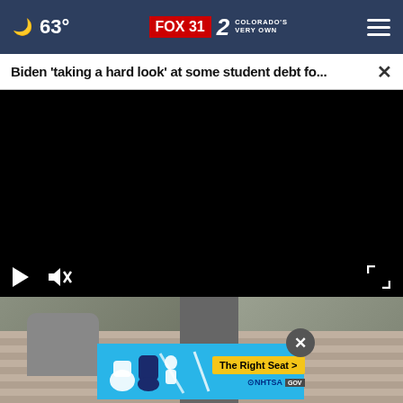63° FOX 31 2 COLORADO'S VERY OWN
Biden 'taking a hard look' at some student debt fo...
[Figure (screenshot): Black video player area with play and mute controls at bottom, fullscreen expand icon at bottom right]
[Figure (photo): Photo strip showing building exterior with brick wall and statue]
[Figure (infographic): NHTSA advertisement: The Right Seat > with car seat safety icons on light blue background]